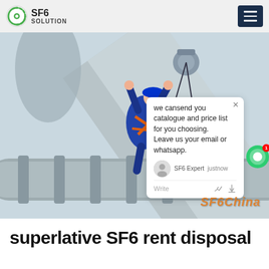SF6 SOLUTION
[Figure (photo): Worker in blue coveralls and orange harness climbing industrial SF6 gas-insulated pipes/equipment on a high structure, viewed from below against a light sky. Large cylindrical grey pipes with flanges visible. SF6China watermark in orange italic text at bottom right. A chat popup overlay visible: 'we can send you catalogue and price list for you choosing. Leave us your email or whatsapp.' — SF6 Expert, just now.]
superlative SF6 rent disposal